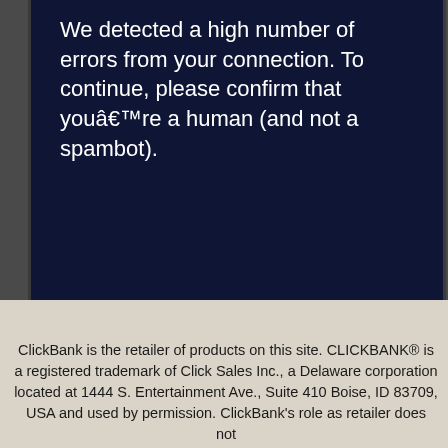We detected a high number of errors from your connection. To continue, please confirm that youâ€™re a human (and not a spambot).
ClickBank is the retailer of products on this site. CLICKBANK® is a registered trademark of Click Sales Inc., a Delaware corporation located at 1444 S. Entertainment Ave., Suite 410 Boise, ID 83709, USA and used by permission. ClickBank's role as retailer does not